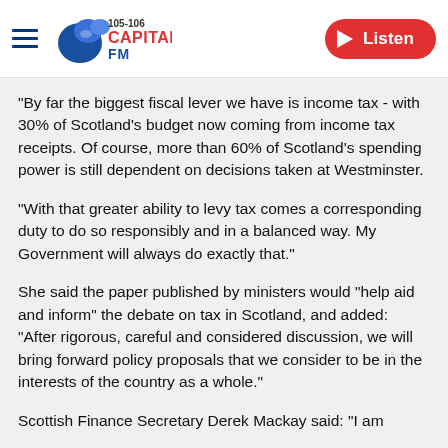Capital FM 105-106 | Listen
"By far the biggest fiscal lever we have is income tax - with 30% of Scotland's budget now coming from income tax receipts. Of course, more than 60% of Scotland's spending power is still dependent on decisions taken at Westminster.
"With that greater ability to levy tax comes a corresponding duty to do so responsibly and in a balanced way. My Government will always do exactly that."
She said the paper published by ministers would "help aid and inform" the debate on tax in Scotland, and added: "After rigorous, careful and considered discussion, we will bring forward policy proposals that we consider to be in the interests of the country as a whole."
Scottish Finance Secretary Derek Mackay said: "I am